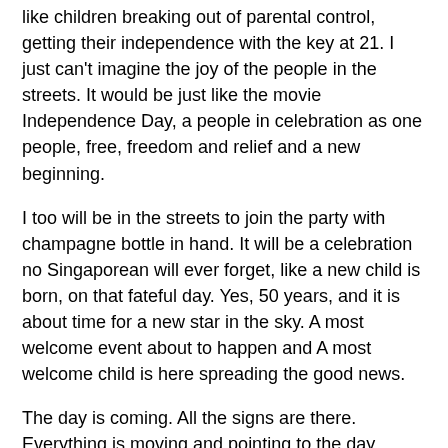like children breaking out of parental control, getting their independence with the key at 21. I just can't imagine the joy of the people in the streets. It would be just like the movie Independence Day, a people in celebration as one people, free, freedom and relief and a new beginning.
I too will be in the streets to join the party with champagne bottle in hand. It will be a celebration no Singaporean will ever forget, like a new child is born, on that fateful day. Yes, 50 years, and it is about time for a new star in the sky. A most welcome event about to happen and A most welcome child is here spreading the good news.
The day is coming. All the signs are there. Everything is moving and pointing to the day everyone is waiting for. Do not despair, there is hope. Darkness will soon give way to light and a new morning.
Chua Chin Leng aka redbean at 8:39 am   8 comments:
Share
6/27/2015
GE 2015/16 issues for the voters to